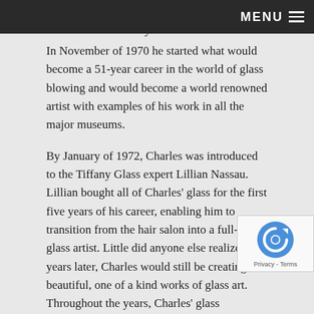MENU ☰
glass blower and began building a furnace in their backyard. In November of 1970 he started what would become a 51-year career in the world of glass blowing and would become a world renowned artist with examples of his work in all the major museums.
By January of 1972, Charles was introduced to the Tiffany Glass expert Lillian Nassau. Lillian bought all of Charles' glass for the first five years of his career, enabling him to transition from the hair salon into a full-time glass artist. Little did anyone else realize fifty years later, Charles would still be creating beautiful, one of a kind works of glass art. Throughout the years, Charles' glass continued to evolve from simple paperweights to Vases, Bowls, Flower Forms, Persian Water Sprinklers, Pendant Lighting, Lamps, and Chandeliers. His designs have also evolved, from molte blobs of melted pop bottles, to some of the most beau glass art creations in the world today. Charles was
[Figure (other): reCAPTCHA badge with Privacy - Terms text]